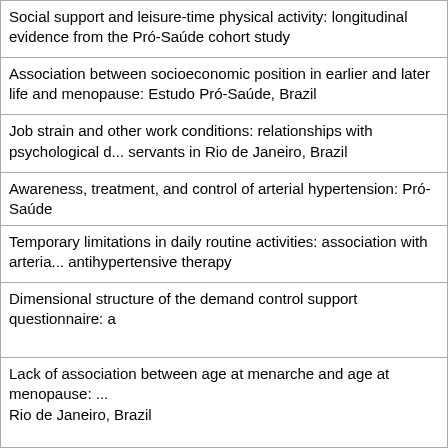Social support and leisure-time physical activity: longitudinal evidence from the Pró-Saúde cohort study
Association between socioeconomic position in earlier and later life and menopause: Estudo Pró-Saúde, Brazil
Job strain and other work conditions: relationships with psychological distress among civil servants in Rio de Janeiro, Brazil
Awareness, treatment, and control of arterial hypertension: Pró-Saúde study
Temporary limitations in daily routine activities: association with arterial hypertension and antihypertensive therapy
Dimensional structure of the demand control support questionnaire: a Brazilian context
Lack of association between age at menarche and age at menopause: Estudo Pró-Saúde, Rio de Janeiro, Brazil